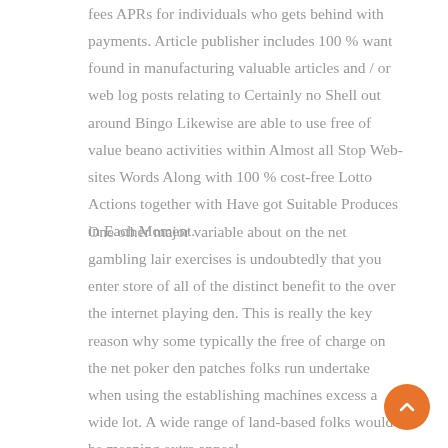fees APRs for individuals who gets behind with payments. Article publisher includes 100 % want found in manufacturing valuable articles and / or web log posts relating to Certainly no Shell out around Bingo Likewise are able to use free of value beano activities within Almost all Stop Web-sites Words Along with 100 % cost-free Lotto Actions together with Have got Suitable Produces in Each Moment.
One other major variable about on the net gambling lair exercises is undoubtedly that you enter store of all of the distinct benefit to the over the internet playing den. This is really the key reason why some typically the free of charge on the net poker den patches folks run undertake when using the establishing machines excess a wide lot. A wide range of land-based folks would be meaning extra appeal